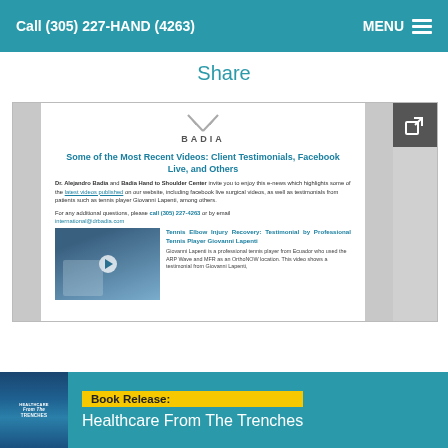Call (305) 227-HAND (4263)    MENU
Share
[Figure (screenshot): Screenshot of Badia Hand to Shoulder Center email newsletter showing logo, heading about recent videos including client testimonials and Facebook Live, body text with contact info, and a video thumbnail of Giovanni Lapenti tennis elbow testimonial]
Book Release: Healthcare From The Trenches